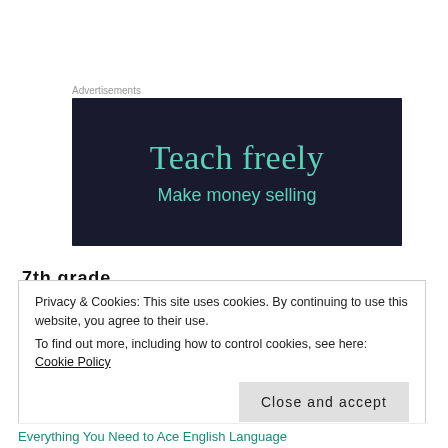[Figure (illustration): Advertisement banner with dark navy background. Large teal serif text reads 'Teach freely'. Below in smaller teal sans-serif text: 'Make money selling'.]
7th grade
Language Arts:
Privacy & Cookies: This site uses cookies. By continuing to use this website, you agree to their use.
To find out more, including how to control cookies, see here: Cookie Policy
Close and accept
Everything You Need to Ace English Language